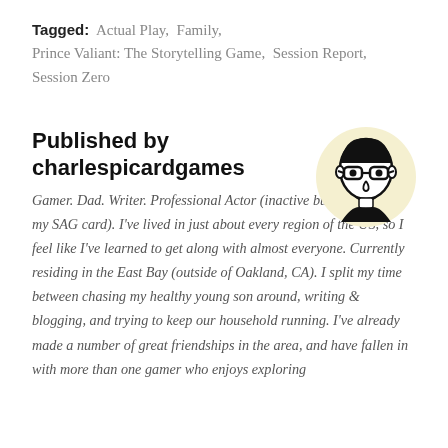Tagged: Actual Play, Family, Prince Valiant: The Storytelling Game, Session Report, Session Zero
Published by charlespicardgames
[Figure (illustration): A circular avatar illustration on a pale yellow background showing a cartoon-style line drawing of a man with glasses and short hair, smiling.]
Gamer. Dad. Writer. Professional Actor (inactive but I've still got my SAG card). I've lived in just about every region of the US, so I feel like I've learned to get along with almost everyone. Currently residing in the East Bay (outside of Oakland, CA). I split my time between chasing my healthy young son around, writing & blogging, and trying to keep our household running. I've already made a number of great friendships in the area, and have fallen in with more than one gamer who enjoys exploring